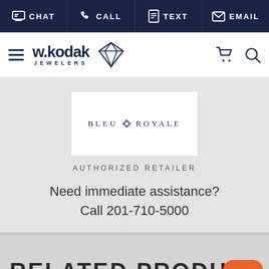CHAT | CALL | TEXT | EMAIL
[Figure (logo): w.kodak JEWELERS logo with diamond icon, hamburger menu, cart and search icons]
[Figure (logo): BLEU ROYALE brand logo in white box]
AUTHORIZED RETAILER
Need immediate assistance?
Call 201-710-5000
RELATED PRODUCT